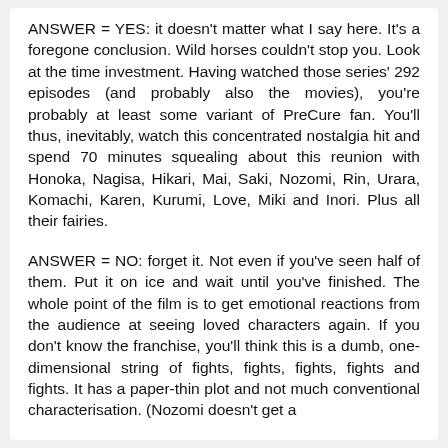ANSWER = YES: it doesn't matter what I say here. It's a foregone conclusion. Wild horses couldn't stop you. Look at the time investment. Having watched those series' 292 episodes (and probably also the movies), you're probably at least some variant of PreCure fan. You'll thus, inevitably, watch this concentrated nostalgia hit and spend 70 minutes squealing about this reunion with Honoka, Nagisa, Hikari, Mai, Saki, Nozomi, Rin, Urara, Komachi, Karen, Kurumi, Love, Miki and Inori. Plus all their fairies.
ANSWER = NO: forget it. Not even if you've seen half of them. Put it on ice and wait until you've finished. The whole point of the film is to get emotional reactions from the audience at seeing loved characters again. If you don't know the franchise, you'll think this is a dumb, one-dimensional string of fights, fights, fights, fights and fights. It has a paper-thin plot and not much conventional characterisation. (Nozomi doesn't get a